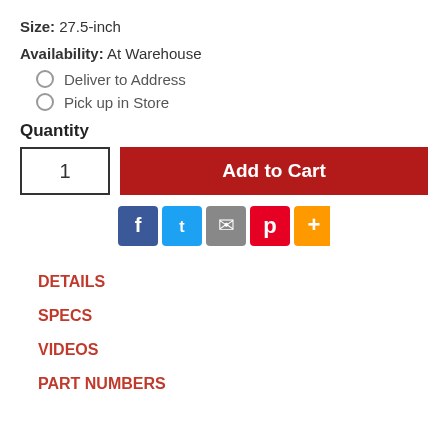Size: 27.5-inch
Availability: At Warehouse
Deliver to Address
Pick up in Store
Quantity
1
Add to Cart
[Figure (infographic): Social sharing icons: Facebook, Twitter, Email, Pinterest, More (+)]
DETAILS
SPECS
VIDEOS
PART NUMBERS